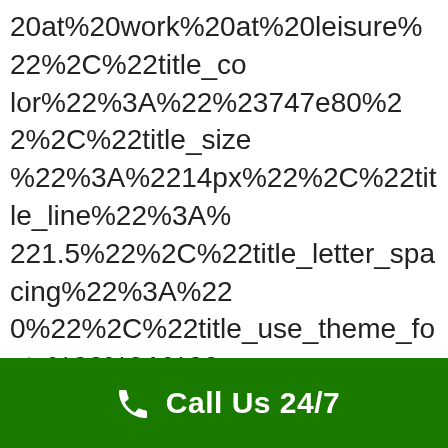20at%20work%20at%20leisure%22%2C%22title_color%22%3A%22%23747e80%22%2C%22title_size%22%3A%2214px%22%2C%22title_line%22%3A%221.5%22%2C%22title_letter_spacing%22%3A%220%22%2C%22title_use_theme_fonts%22%3A%22google-fonts%22%2C%22title_font_weight%22%3A%22400%22%2C%22title_google_fonts%22%3A%22font_family%3ARoboto%253A100%252C100italic%252C300%252C300italic%252Cregular%252Citalic%252C500%252C500italic%252C700%252C700italic%252C900%252C900italic%7Cfont_style%3A400%2520regular%253A400%253Anormal%22%2C%22image_icon%22%3A%22icon%22%2C%22svg_icon%22%3A%22svg%22%2C%22svg_d_icon%22%3A%22app.svg%22%2C%22svg_type%22%3A%22delayed
[Figure (other): Green footer bar with phone icon and 'Call Us 24/7' text in white on green background]